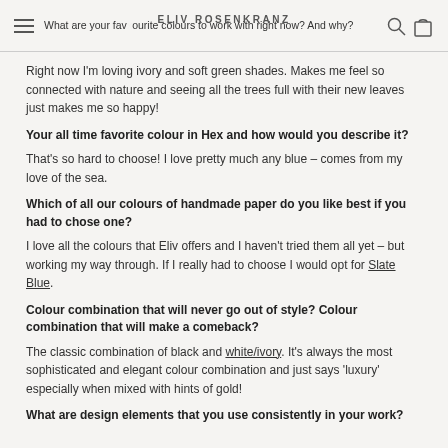What are your favourite colours to work with right now? And why? | ELIV ROSENKRANZ
Right now I'm loving ivory and soft green shades.  Makes me feel so connected with nature and seeing all the trees full with their new leaves just makes me so happy!
Your all time favorite colour in Hex and how would you describe it?
That's so hard to choose!  I love pretty much any blue – comes from my love of the sea.
Which of all our colours of handmade paper do you like best if you had to chose one?
I love all the colours that Eliv offers and I haven't tried them all yet – but working my way through.  If I really had to choose I would opt for Slate Blue.
Colour combination that will never go out of style? Colour combination that will make a comeback?
The classic combination of black and white/ivory.  It's always the most sophisticated and elegant colour combination and just says 'luxury' especially when mixed with hints of gold!
What are design elements that you use consistently in your work?